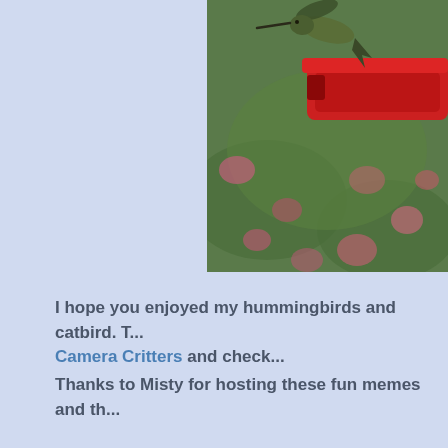[Figure (photo): A hummingbird hovering near a red bird feeder, with blurred pink flowers and green foliage in the background. The image is cropped, showing the right portion of the scene.]
I hope you enjoyed my hummingbirds and catbird. T... Camera Critters and check...
Thanks to Misty for hosting these fun memes and th...